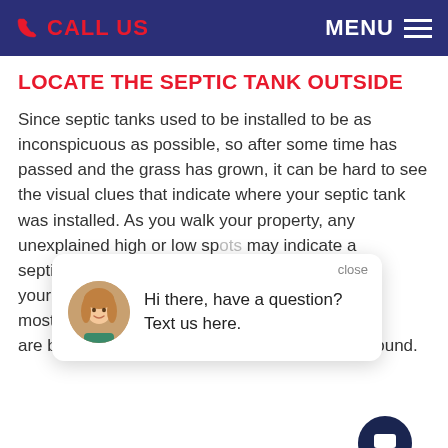CALL US   MENU
LOCATE THE SEPTIC TANK OUTSIDE
Since septic tanks used to be installed to be as inconspicuous as possible, so after some time has passed and the grass has grown, it can be hard to see the visual clues that indicate where your septic tank was installed. As you walk your property, any unexplained high or low spots may indicate a septic tanks are your home bu most cases, a are buried between 4 inches and 4 feet underground.
[Figure (screenshot): Chat popup overlay with avatar and message: Hi there, have a question? Text us here. With 'close' button and chat bubble icon.]
FINDING THE SEWER OUTLET PIPE